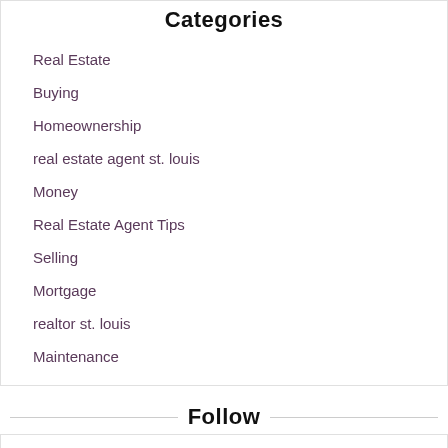Categories
Real Estate
Buying
Homeownership
real estate agent st. louis
Money
Real Estate Agent Tips
Selling
Mortgage
realtor st. louis
Maintenance
Follow
Archive